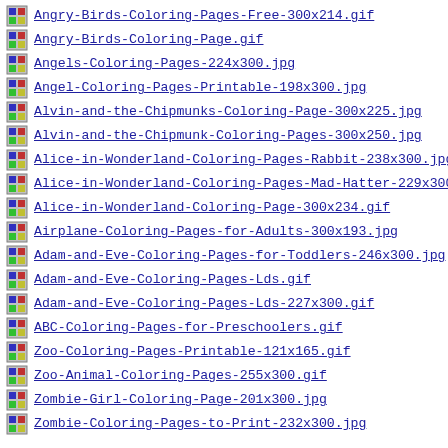Angry-Birds-Coloring-Pages-Free-300x214.gif
Angry-Birds-Coloring-Page.gif
Angels-Coloring-Pages-224x300.jpg
Angel-Coloring-Pages-Printable-198x300.jpg
Alvin-and-the-Chipmunks-Coloring-Page-300x225.jpg
Alvin-and-the-Chipmunk-Coloring-Pages-300x250.jpg
Alice-in-Wonderland-Coloring-Pages-Rabbit-238x300.jpg
Alice-in-Wonderland-Coloring-Pages-Mad-Hatter-229x300
Alice-in-Wonderland-Coloring-Page-300x234.gif
Airplane-Coloring-Pages-for-Adults-300x193.jpg
Adam-and-Eve-Coloring-Pages-for-Toddlers-246x300.jpg
Adam-and-Eve-Coloring-Pages-Lds.gif
Adam-and-Eve-Coloring-Pages-Lds-227x300.gif
ABC-Coloring-Pages-for-Preschoolers.gif
Zoo-Coloring-Pages-Printable-121x165.gif
Zoo-Animal-Coloring-Pages-255x300.gif
Zombie-Girl-Coloring-Page-201x300.jpg
Zombie-Coloring-Pages-to-Print-232x300.jpg